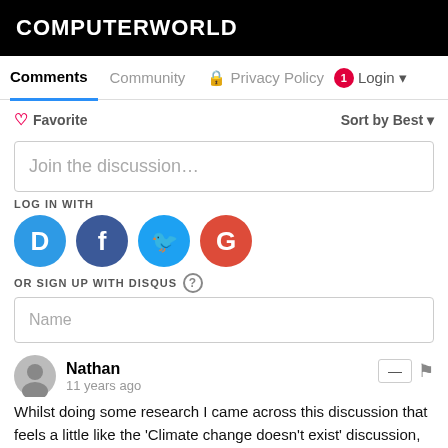COMPUTERWORLD
Comments  Community  Privacy Policy  1  Login
Favorite  Sort by Best
Join the discussion…
LOG IN WITH
[Figure (infographic): Social login icons: Disqus (D, blue circle), Facebook (f, dark blue circle), Twitter (bird, light blue circle), Google (G, red circle)]
OR SIGN UP WITH DISQUS ?
Name
Nathan
11 years ago
Whilst doing some research I came across this discussion that feels a little like the 'Climate change doesn't exist' discussion, that continued on in Australia long after the rest of the